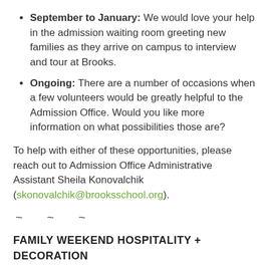September to January: We would love your help in the admission waiting room greeting new families as they arrive on campus to interview and tour at Brooks.
Ongoing: There are a number of occasions when a few volunteers would be greatly helpful to the Admission Office. Would you like more information on what possibilities those are?
To help with either of these opportunities, please reach out to Admission Office Administrative Assistant Sheila Konovalchik (skonovalchik@brooksschool.org).
~ ~ ~
FAMILY WEEKEND HOSPITALITY + DECORATION